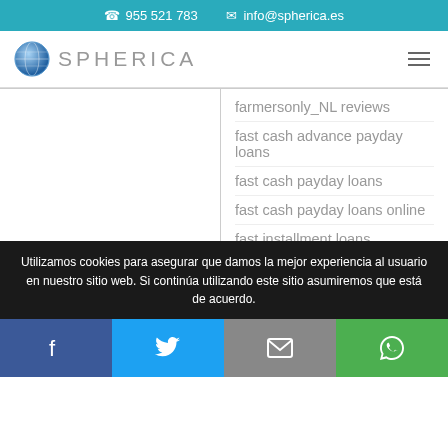☎ 955 521 783   ✉ info@spherica.es
[Figure (logo): Spherica globe logo with text SPHERICA]
farmersonly_NL reviews
fast cash advance payday loans
fast cash payday loans
fast cash payday loans online
fast installment loans
Utilizamos cookies para asegurar que damos la mejor experiencia al usuario en nuestro sitio web. Si continúa utilizando este sitio asumiremos que está de acuerdo.
Facebook | Twitter | Email | WhatsApp